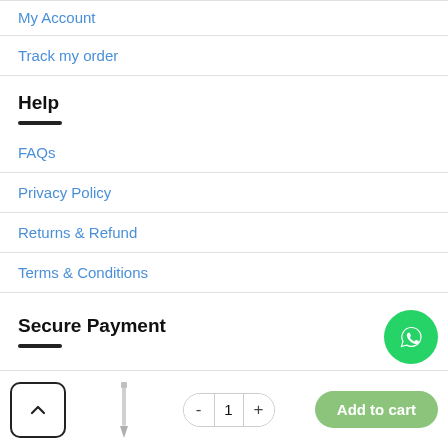My Account
Track my order
Help
FAQs
Privacy Policy
Returns & Refund
Terms & Conditions
Secure Payment